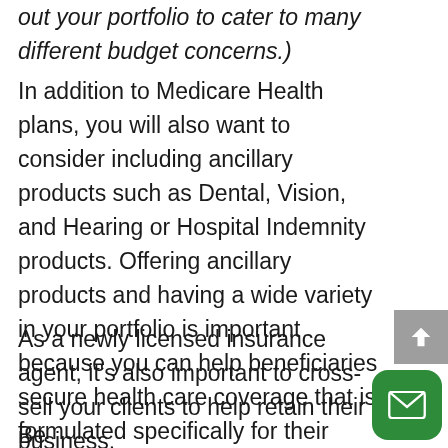out your portfolio to cater to many different budget concerns.)
In addition to Medicare Health plans, you will also want to consider including ancillary products such as Dental, Vision, and Hearing or Hospital Indemnity products. Offering ancillary products and having a wide variety in your portfolio is important because you can help beneficiaries secure health care coverage that is formulated specifically for their unique situation.
As a newly licensed insurance agent, it's also important to cross-sell your clients to help retain their business.
Be sure and always...